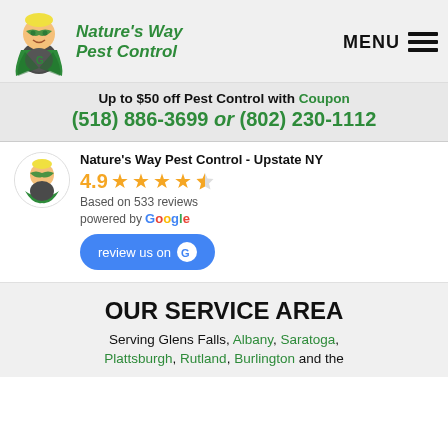[Figure (logo): Nature's Way Pest Control logo with cartoon pest-control mascot (child in green superhero cape) and green italic text reading 'Nature's Way Pest Control']
MENU ☰
Up to $50 off Pest Control with Coupon
(518) 886-3699 or (802) 230-1112
Nature's Way Pest Control - Upstate NY
4.9 ★★★★½
Based on 533 reviews
powered by Google
review us on G
OUR SERVICE AREA
Serving Glens Falls, Albany, Saratoga, Plattsburgh, Rutland, Burlington and the...